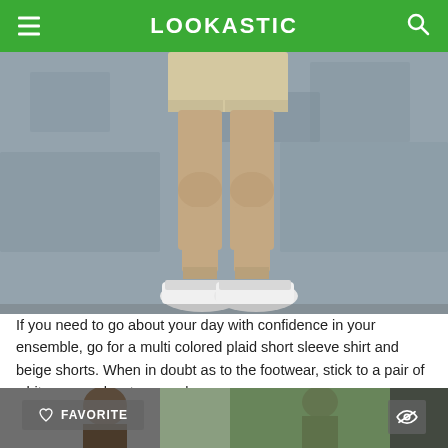LOOKASTIC
[Figure (photo): Lower body shot of person wearing beige shorts and white canvas low top sneakers, standing against a concrete wall]
If you need to go about your day with confidence in your ensemble, go for a multi colored plaid short sleeve shirt and beige shorts. When in doubt as to the footwear, stick to a pair of white canvas low top sneakers.
[Figure (photo): Partial view of second outfit photo showing men in outdoor setting, with FAVORITE button overlay and eye icon]